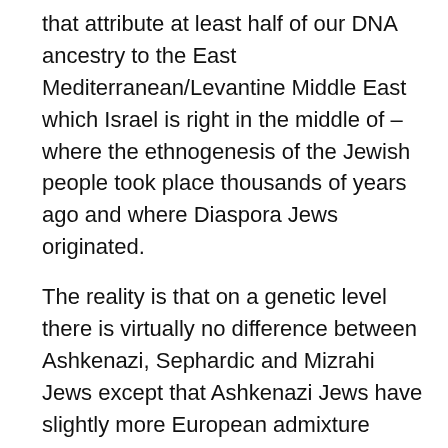that attribute at least half of our DNA ancestry to the East Mediterranean/Levantine Middle East which Israel is right in the middle of – where the ethnogenesis of the Jewish people took place thousands of years ago and where Diaspora Jews originated.
The reality is that on a genetic level there is virtually no difference between Ashkenazi, Sephardic and Mizrahi Jews except that Ashkenazi Jews have slightly more European admixture reflecting our long sojourn on the European continent dating